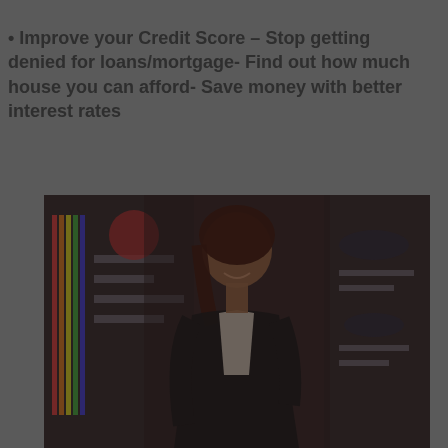• Improve your Credit Score – Stop getting denied for loans/mortgage- Find out how much house you can afford- Save money with better interest rates
[Figure (photo): A smiling woman in a dark blazer standing in front of a blurred background showing financial charts and graphs on display boards.]